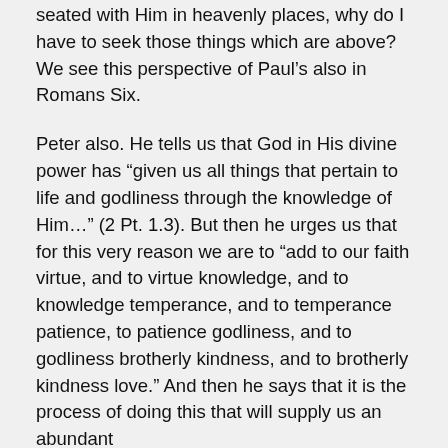seated with Him in heavenly places, why do I have to seek those things which are above? We see this perspective of Paul's also in Romans Six.

Peter also. He tells us that God in His divine power has “given us all things that pertain to life and godliness through the knowledge of Him…” (2 Pt. 1.3). But then he urges us that for this very reason we are to “add to our faith virtue, and to virtue knowledge, and to knowledge temperance, and to temperance patience, to patience godliness, and to godliness brotherly kindness, and to brotherly kindness love.” And then he says that it is the process of doing this that will supply us an abundant